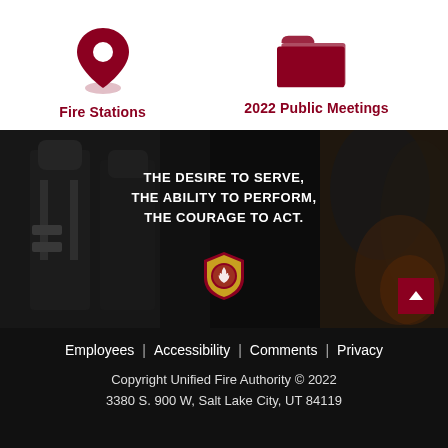[Figure (infographic): Red map pin / location icon for Fire Stations]
Fire Stations
[Figure (infographic): Red folder icon for 2022 Public Meetings]
2022 Public Meetings
[Figure (photo): Dark hero image of firefighters in gear with overlay text: THE DESIRE TO SERVE, THE ABILITY TO PERFORM, THE COURAGE TO ACT. and Unified Fire Authority badge logo.]
Employees | Accessibility | Comments | Privacy
Copyright Unified Fire Authority © 2022
3380 S. 900 W, Salt Lake City, UT 84119